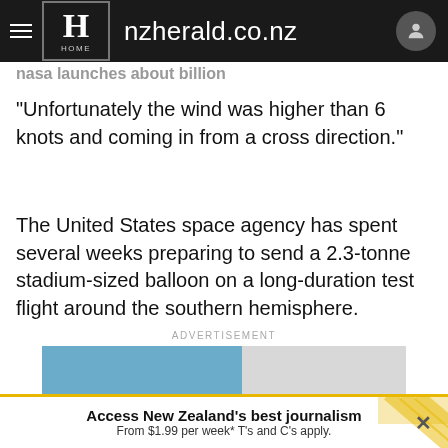nzherald.co.nz
"Unfortunately the wind was higher than 6 knots and coming in from a cross direction."
The United States space agency has spent several weeks preparing to send a 2.3-tonne stadium-sized balloon on a long-duration test flight around the southern hemisphere.
ADVERTISEMENT
[Figure (photo): Advertisement image showing a blue sky and hands, partially visible]
Access New Zealand's best journalism From $1.99 per week* T's and C's apply.